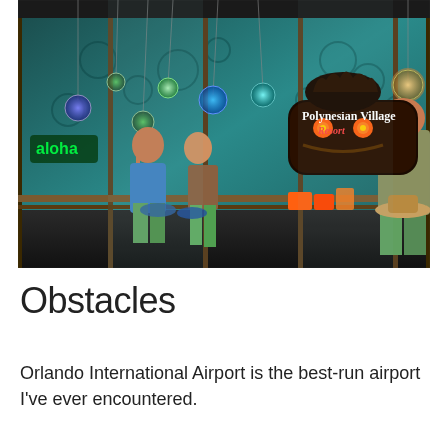[Figure (photo): Interior storefront display of a Polynesian Village Resort shop, with mannequins in colorful clothing, hanging glass globe lanterns, teal/turquoise patterned walls, and a large Tiki-style character holding a 'Polynesian Village Resort' sign. Green 'aloha' neon sign visible on left side.]
Obstacles
Orlando International Airport is the best-run airport I've ever encountered.